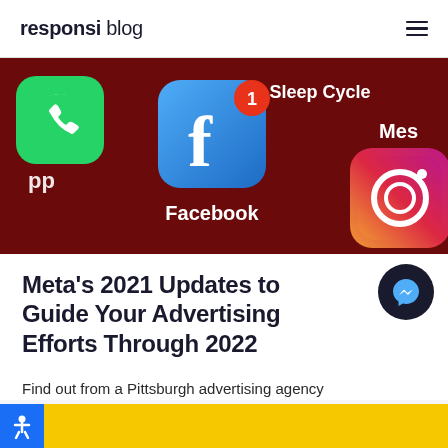responsi blog
[Figure (photo): Close-up photo of a smartphone screen showing social media app icons including Facebook (center, with notification badge showing '1'), WhatsApp (left), Instagram (bottom right), Sleep Cycle (top center), and Messenger (top right) on a dark red background.]
Meta's 2021 Updates to Guide Your Advertising Efforts Through 2022
Find out from a Pittsburgh advertising agency